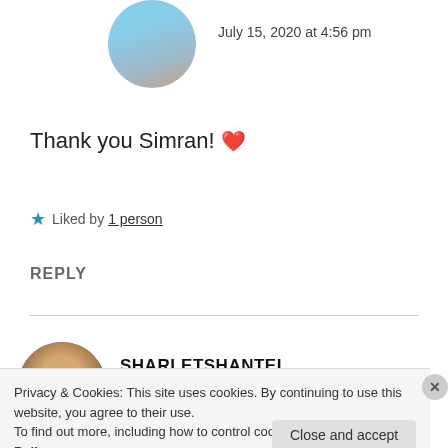[Figure (photo): Circular avatar photo of a person against a blue sky background, partially cropped at top]
July 15, 2020 at 4:56 pm
Thank you Simran! ❤️
★ Liked by 1 person
REPLY
[Figure (photo): Circular avatar photo of a smiling person]
SHARLETSHANTEL
July 17, 2020 at 9:43 am
Privacy & Cookies: This site uses cookies. By continuing to use this website, you agree to their use. To find out more, including how to control cookies, see here: Cookie Policy
Close and accept